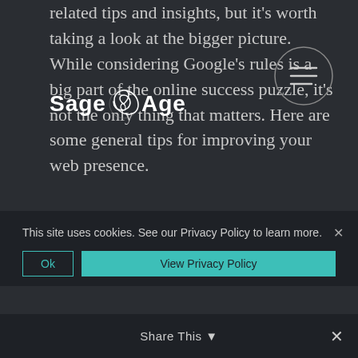[Figure (logo): Sage Age logo with spiral icon between 'Sage' and 'Age' text in white on dark background]
[Figure (other): Circular menu icon with three horizontal lines in top right corner]
related tips and insights, but it’s worth taking a look at the bigger picture. While considering Google’s rules is a big part of the online success puzzle, it’s not the only thing that matters. Here are some general tips for improving your web presence.
1.
Pay attention to your visitor analytics. Pay particular attention to the places at which your prospective customers bounce or
This site uses cookies. See our Privacy Policy to learn more.
Ok
View Privacy Policy
Share This